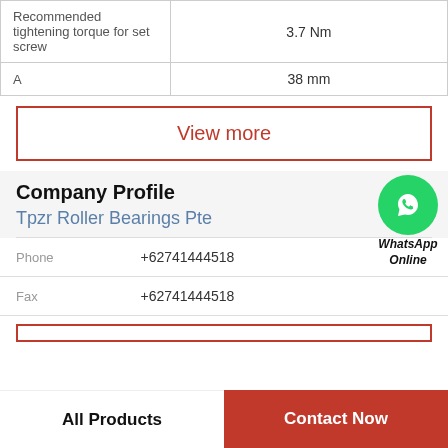| Recommended tightening torque for set screw | 3.7 Nm |
| A | 38 mm |
View more
Company Profile
[Figure (logo): WhatsApp Online green circle icon with phone handset]
Tpzr Roller Bearings Pte
Phone  +62741444518
Fax  +62741444518
All Products   Contact Now